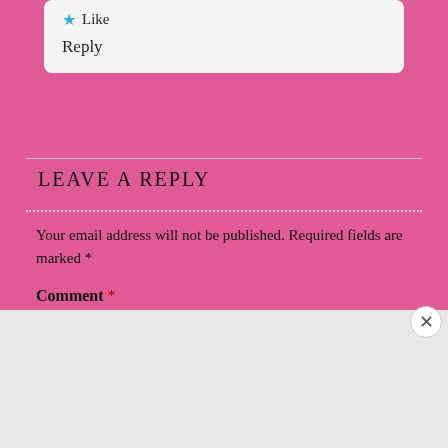Like
Reply
LEAVE A REPLY
Your email address will not be published. Required fields are marked *
Comment *
Advertisements
[Figure (infographic): DuckDuckGo advertisement banner with orange background. Text reads: Search, browse, and email with more privacy. All in One Free App. Shows a phone graphic with DuckDuckGo logo.]